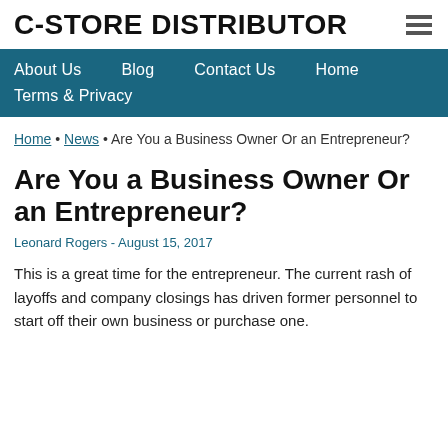C-STORE DISTRIBUTOR
About Us  Blog  Contact Us  Home  Terms & Privacy
Home • News • Are You a Business Owner Or an Entrepreneur?
Are You a Business Owner Or an Entrepreneur?
Leonard Rogers - August 15, 2017
This is a great time for the entrepreneur. The current rash of layoffs and company closings has driven former personnel to start off their own business or purchase one.